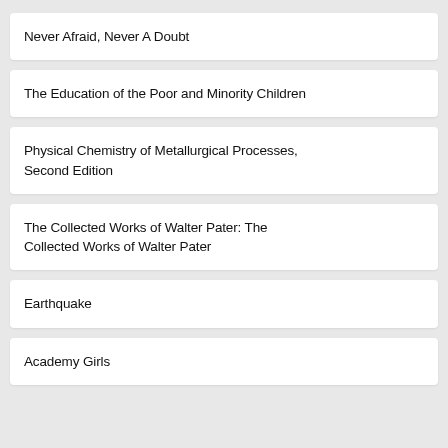Never Afraid, Never A Doubt
The Education of the Poor and Minority Children
Physical Chemistry of Metallurgical Processes, Second Edition
The Collected Works of Walter Pater: The Collected Works of Walter Pater
Earthquake
Academy Girls